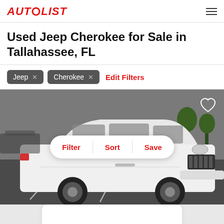AUTOLIST
Used Jeep Cherokee for Sale in Tallahassee, FL
Jeep ×
Cherokee ×
Edit Filters
[Figure (photo): White Jeep Cherokee SUV parked in a parking lot, front three-quarter view. Gray sky background with trees visible. Overlay shows Filter, Sort, Save pill buttons and a heart icon in top right.]
Filter  Sort  Save